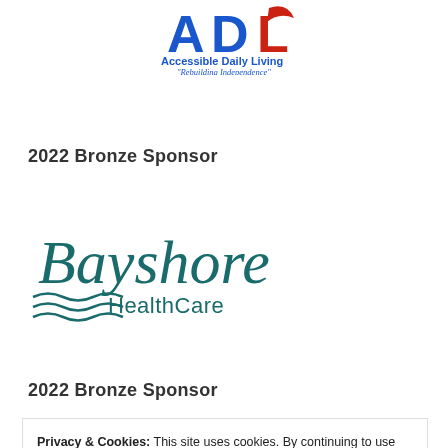[Figure (logo): ADL Accessible Daily Living logo with blue and red letters and tagline 'Rebuilding Independence']
2022 Bronze Sponsor
[Figure (logo): Bayshore HealthCare logo in teal/dark green script font]
2022 Bronze Sponsor
Privacy & Cookies: This site uses cookies. By continuing to use this website, you agree to their use.
To find out more, including how to control cookies, see here: Cookie Policy
Close and accept